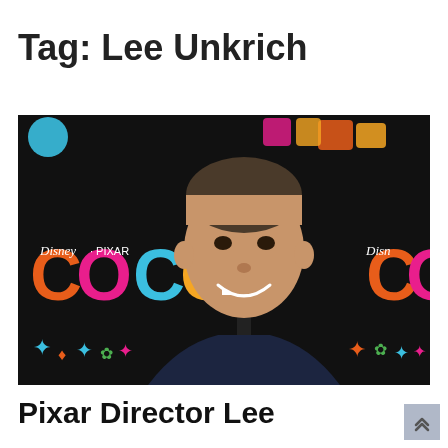Tag: Lee Unkrich
[Figure (photo): Man in dark suit and tie smiling at camera, standing in front of a Disney Pixar Coco movie premiere backdrop with the colorful Coco logo and Disney Pixar branding.]
Pixar Director Lee